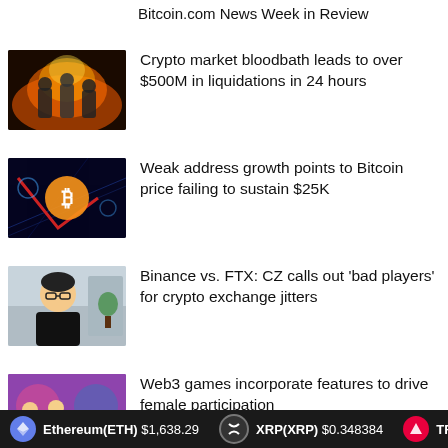Bitcoin.com News Week in Review
Crypto market bloodbath leads to over $500M in liquidations in 24 hours
Weak address growth points to Bitcoin price failing to sustain $25K
Binance vs. FTX: CZ calls out 'bad players' for crypto exchange jitters
Web3 games incorporate features to drive female participation
Ethereum(ETH) $1,638.29   XRP(XRP) $0.348384   TRO